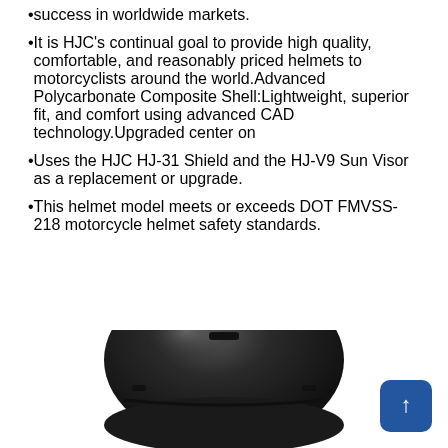success in worldwide markets.
It is HJC’s continual goal to provide high quality, comfortable, and reasonably priced helmets to motorcyclists around the world.Advanced Polycarbonate Composite Shell:Lightweight, superior fit, and comfort using advanced CAD technology.Upgraded center on
Uses the HJC HJ-31 Shield and the HJ-V9 Sun Visor as a replacement or upgrade.
This helmet model meets or exceeds DOT FMVSS-218 motorcycle helmet safety standards.
[Figure (photo): Bottom portion of a dark/black motorcycle helmet shown from above against a white background. A blue square button with an upward arrow (back-to-top) is visible in the bottom-right corner.]